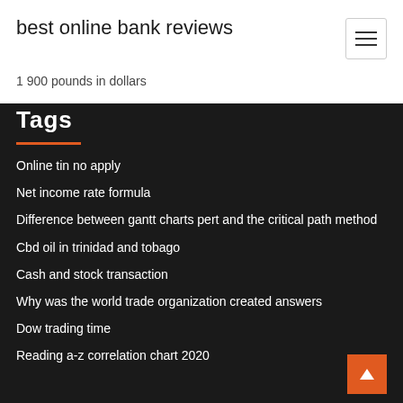best online bank reviews
1 900 pounds in dollars
Tags
Online tin no apply
Net income rate formula
Difference between gantt charts pert and the critical path method
Cbd oil in trinidad and tobago
Cash and stock transaction
Why was the world trade organization created answers
Dow trading time
Reading a-z correlation chart 2020